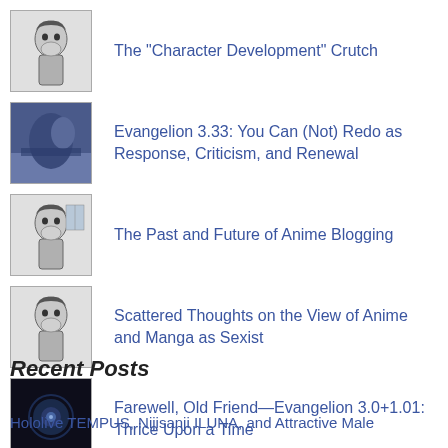The "Character Development" Crutch
Evangelion 3.33: You Can (Not) Redo as Response, Criticism, and Renewal
The Past and Future of Anime Blogging
Scattered Thoughts on the View of Anime and Manga as Sexist
Farewell, Old Friend—Evangelion 3.0+1.01: Thrice Upon a Time
Recent Posts
Hololive TEMPUS, Nijisanji ILUNA, and Attractive Male